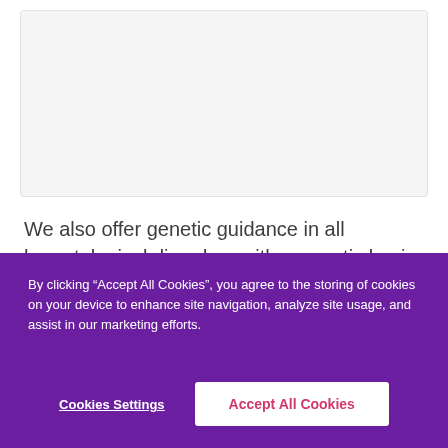[Figure (other): Light gray card/box area at top of page, appears to be a partially visible content card]
We also offer genetic guidance in all hematological disorders with a genetic basis and second opinions.
By clicking “Accept All Cookies”, you agree to the storing of cookies on your device to enhance site navigation, analyze site usage, and assist in our marketing efforts.
Cookies Settings
Accept All Cookies